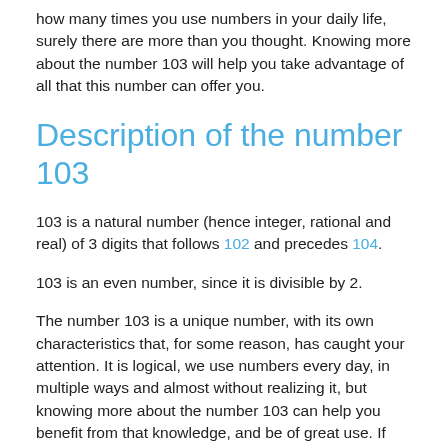how many times you use numbers in your daily life, surely there are more than you thought. Knowing more about the number 103 will help you take advantage of all that this number can offer you.
Description of the number 103
103 is a natural number (hence integer, rational and real) of 3 digits that follows 102 and precedes 104.
103 is an even number, since it is divisible by 2.
The number 103 is a unique number, with its own characteristics that, for some reason, has caught your attention. It is logical, we use numbers every day, in multiple ways and almost without realizing it, but knowing more about the number 103 can help you benefit from that knowledge, and be of great use. If you keep reading, we will also explain further some properties about the number